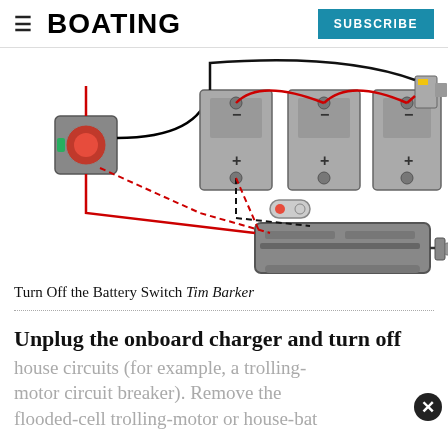BOATING | SUBSCRIBE
[Figure (schematic): Electrical wiring diagram showing a battery switch, three batteries, an onboard charger device, and shore power connector. Red and black wires (solid and dashed) connect the components indicating charging circuit.]
Turn Off the Battery Switch Tim Barker
Unplug the onboard charger and turn off
house circuits (for example, a trolling-motor circuit breaker). Remove the flooded-cell trolling-motor or house-bat...